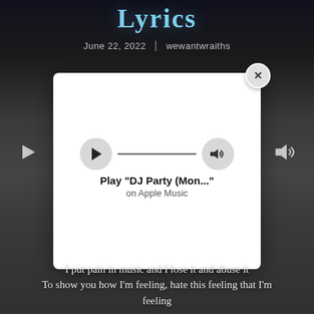Lyrics
June 22, 2022 | wewantwraiths
[Figure (screenshot): Apple Music play widget modal overlay showing 'Play "DJ Party (Mon..."' on Apple Music with a play button circle on the left, a progress bar, and a volume button circle on the right. A close (X) button appears in the top-right corner of the modal.]
I put pain in music and I lose it and abuse it
To show you how I'm feeling, hate this feeling that I'm feeling